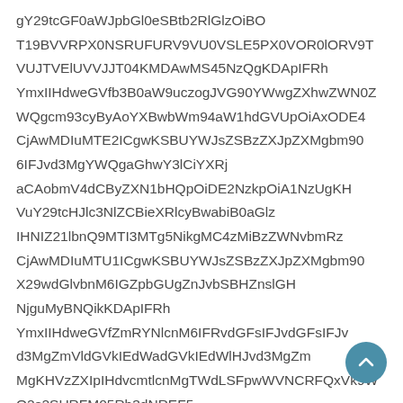gY29tcGF0aWJpbGl0eSBtb2RlGlzOiBO T19BVVRPX0NSRUFURV9VU0VSLE5PX0VOR0lORV9T VUJTVElUVVRJT04KMDAwMS45NzQgKDApIFRh YmxIIHdweGVfb3B0aW9uczonVG90YWwgZXhwZWN0Z WQgcm93cyByAoYXBwbWm94aW1hdGVUpOiAxODE4 CjAwMDIuMTE2ICgwKSBUYWJsZSBzZXJpZXMgbm90 6IFJvd3MgZWQgaGhwY3lCiYXRj aCAobmV4dCByZXN1bHQpOiDE2NzkpOiA5NzUgKH VuY29tcHJlc3NlZCBieXRlcyBwabiB0aGlz IHNIZ21lbnQ9MTI3MTg5NikgMC4zMiBzZWNvbmRz CjAwMDIuMTU1ICgwKSBUYWJsZSBzZXJpZXMgbm90 6IFJvd3M4wdGlvbkM6IGZpbGUgZnJvbSBHZnslGH MpICgyLCAh LCAyKHMpCgyLCAh NjguMyBNQikKDApIFRh YmxIIHdweGVfZmRXNlcnM6IFRvdGFsIFJvdGFsIFJvdGFsIFJvdGFsIFJvd1IKH Jvd3MgZmVldGVkIEdWadGVkIEdWlHJvd3MgZm MgKHVzZXIpIHdvcmtlciBwcm9maWxlIHN0YXRlbWVudHM6IDMgTWdLSFpwWVNCRFQxVk9WQ2s2SURFM05Rb3dNREF5 LiE5NSA0MGluVGFibGVcWMpVXlyZXZZMrZmxlKGxlKGxlKGxleVl0XDndlcmVdmVyc2lvbg==